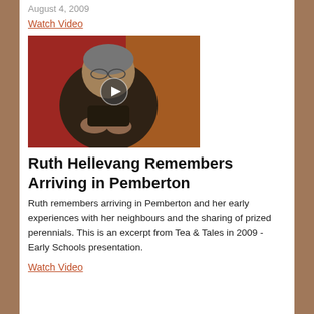August 4, 2009
Watch Video
[Figure (photo): An elderly woman speaking, with a red and orange background, with a video play button overlay in the center.]
Ruth Hellevang Remembers Arriving in Pemberton
Ruth remembers arriving in Pemberton and her early experiences with her neighbours and the sharing of prized perennials. This is an excerpt from Tea & Tales in 2009 - Early Schools presentation.
Watch Video